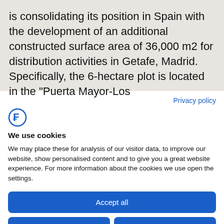is consolidating its position in Spain with the development of an additional constructed surface area of 36,000 m2 for distribution activities in Getafe, Madrid. Specifically, the 6-hectare plot is located in the “Puerta Mayor-Los
Privacy policy
[Figure (logo): Blue stylized 'F' or euro-sign-like logo icon]
We use cookies
We may place these for analysis of our visitor data, to improve our website, show personalised content and to give you a great website experience. For more information about the cookies we use open the settings.
Accept all
Deny
No, adjust